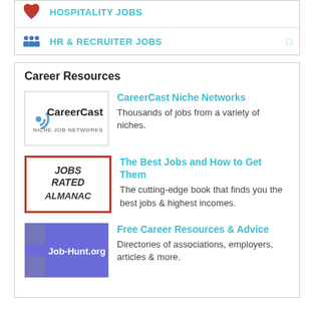HOSPITALITY JOBS
HR & RECRUITER JOBS
Career Resources
[Figure (logo): CareerCast Niche Job Networks logo]
CareerCast Niche Networks
Thousands of jobs from a variety of niches.
[Figure (illustration): Jobs Rated Almanac book cover]
The Best Jobs and How to Get Them
The cutting-edge book that finds you the best jobs & highest incomes.
[Figure (logo): Job-Hunt.org logo on purple background]
Free Career Resources & Advice
Directories of associations, employers, articles & more.